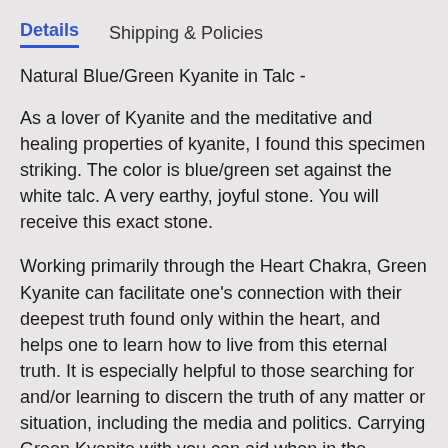Details    Shipping & Policies
Natural Blue/Green Kyanite in Talc -
As a lover of Kyanite and the meditative and healing properties of kyanite, I found this specimen striking. The color is blue/green set against the white talc. A very earthy, joyful stone. You will receive this exact stone.
Working primarily through the Heart Chakra, Green Kyanite can facilitate one's connection with their deepest truth found only within the heart, and helps one to learn how to live from this eternal truth. It is especially helpful to those searching for and/or learning to discern the truth of any matter or situation, including the media and politics. Carrying Green Kyanite with you can aid when in the company of others of who you are unsure, by helping